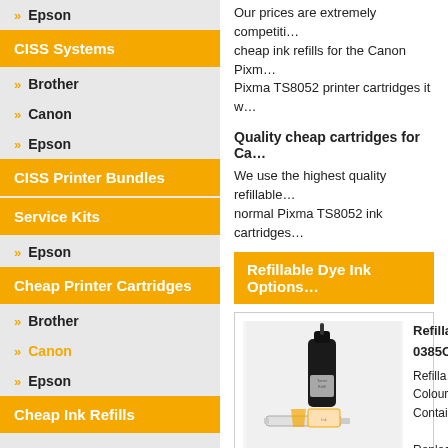Epson
CISS Systems
Brother
Canon
Epson
CISS Printer Bundles
Service Kits
Epson
Cheap Printer Cartridges
Brother
Canon
Epson
Cheap Ink Refills
Our prices are extremely competitive. We offer cheap ink refills for the Canon Pixma... Pixma TS8052 printer cartridges it w...
Quality cheap cartridges for Ca...
We use the highest quality refillable... normal Pixma TS8052 ink cartridges...
Refillable Dye Ink Options
[Figure (photo): Product photo of refillable ink kit with ink bottle and syringe accessories]
Refilla... 0385C... Refilla... Colour... Contai... Replac...
[Figure (illustration): Black ink drop icons at bottom right]